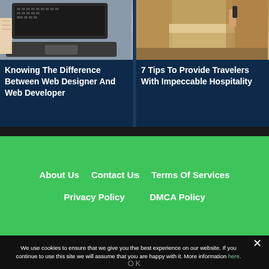[Figure (photo): Laptop on desk with notebook, viewed from above — web design/developer concept]
Knowing The Difference Between Web Designer And Web Developer
[Figure (photo): Person holding hotel key card at hotel room door — hospitality concept]
7 Tips To Provide Travelers With Impeccable Hospitality
About Us
Contact Us
Terms Of Services
Privacy Policy
DMCA Policy
We use cookies to ensure that we give you the best experience on our website. If you continue to use this site we will assume that you are happy with it. More information here.
OK